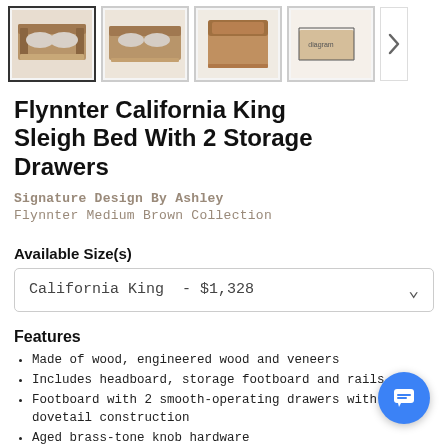[Figure (photo): Thumbnail strip of 4 product images of the Flynnter California King Sleigh Bed, with a right navigation arrow. First thumbnail is selected/highlighted.]
Flynnter California King Sleigh Bed With 2 Storage Drawers
Signature Design By Ashley
Flynnter Medium Brown Collection
Available Size(s)
California King  - $1,328
Features
Made of wood, engineered wood and veneers
Includes headboard, storage footboard and rails
Footboard with 2 smooth-operating drawers with dovetail construction
Aged brass-tone knob hardware